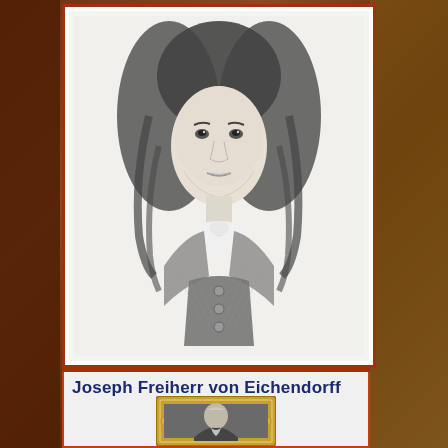[Figure (illustration): Pencil sketch portrait of a young man with long curly dark hair, wearing a cravat and buttoned vest/jacket, in a white rectangular card with dark red border]
Joseph Freiherr von Eichendorff
[Figure (photo): Small framed photograph or medallion portrait of an older man, in an ornate gold frame, partially visible at bottom of page]